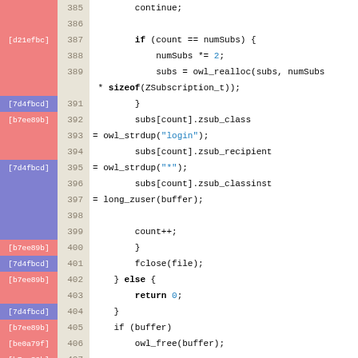[Figure (screenshot): Source code viewer showing C code lines 385-413 with git blame annotations (commit hashes) in colored left column, line numbers in center column, and code in right column. Code shows subscription loading logic in C including conditionals, memory allocation, string operations, and function definitions.]